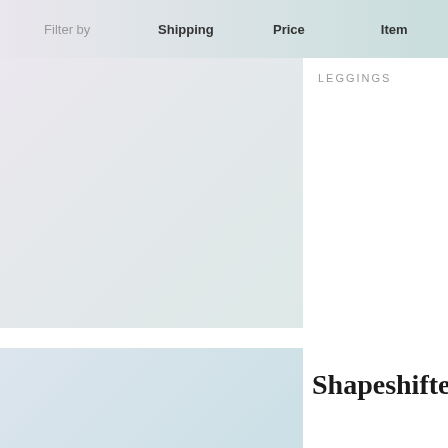Filter by   Shipping   Price   Item
LEGGINGS
Shapeshifters
$$$
INTIMATES
Joules Jewels
$$$
SWEATERS · DRESSES · SKIRTS · TOPS · OUTERWEAR